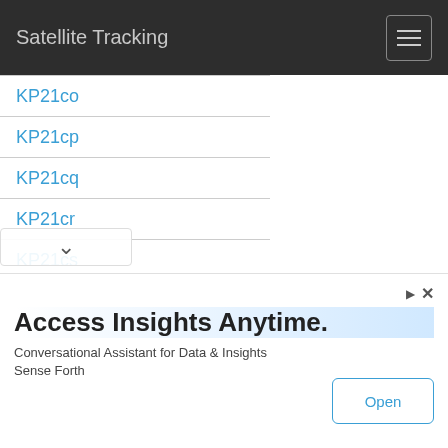Satellite Tracking
KP21co
KP21cp
KP21cq
KP21cr
KP21cs
KP21ct
KP21cu
KP21cv
KP21cw
KP21cx
KP21da
KP21db
R21dc
Access Insights Anytime.
Conversational Assistant for Data & Insights
Sense Forth